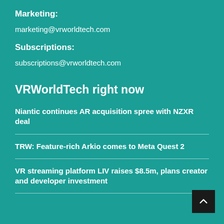Marketing:
marketing@vrworldtech.com
Subscriptions:
subscriptions@vrworldtech.com
VRWorldTech right now
Niantic continues AR acquisition spree with NZXR deal
TRW: Feature-rich Arkio comes to Meta Quest 2
VR streaming platform LIV raises $8.5m, plans creator and developer investment